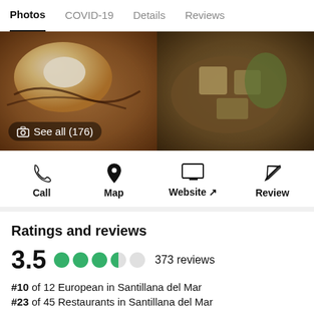Photos | COVID-19 | Details | Reviews
[Figure (photo): Two food photos side by side with 'See all (176)' overlay button]
See all (176)
Call   Map   Website ↗   Review
Ratings and reviews
3.5  373 reviews
#10 of 12 European in Santillana del Mar
#23 of 45 Restaurants in Santillana del Mar
RATINGS
Food